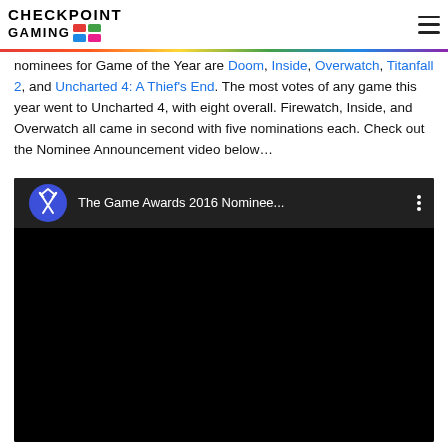Checkpoint Gaming
nominees for Game of the Year are Doom, Inside, Overwatch, Titanfall 2, and Uncharted 4: A Thief's End. The most votes of any game this year went to Uncharted 4, with eight overall. Firewatch, Inside, and Overwatch all came in second with five nominations each. Check out the Nominee Announcement video below…
[Figure (screenshot): Embedded YouTube video player showing 'The Game Awards 2016 Nominee...' with a dark blue circular logo icon on a dark background]